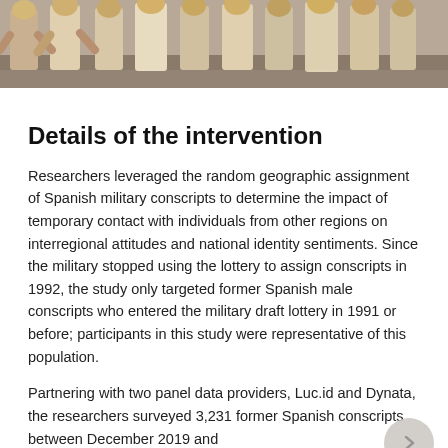[Figure (photo): Top portion of a photograph showing Spanish military conscripts, people visible from waist down, wearing light-colored clothing, outdoor setting.]
Details of the intervention
Researchers leveraged the random geographic assignment of Spanish military conscripts to determine the impact of temporary contact with individuals from other regions on interregional attitudes and national identity sentiments. Since the military stopped using the lottery to assign conscripts in 1992, the study only targeted former Spanish male conscripts who entered the military draft lottery in 1991 or before; participants in this study were representative of this population.
Partnering with two panel data providers, Luc.id and Dynata, the researchers surveyed 3,231 former Spanish conscripts between December 2019 and